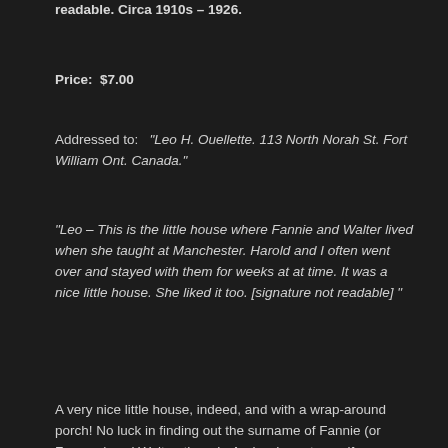readable. Circa 1910s – 1926.
Price: $7.00
Addressed to: "Leo H. Ouellette. 113 North Norah St. Fort William Ont. Canada."
"Leo – This is the little house where Fannie and Walter lived when she taught at Manchester. Harold and I often went over and stayed with them for weeks at at time. It was a nice little house. She liked it too. [signature not readable] "
A very nice little house, indeed, and with a wrap-around porch! No luck in finding out the surname of Fannie (or Frances) and Walter, though. And we're not sure if Manchester was the name of a school or a town, but either way, no definite results were found. If a town, then likely it's the Manchester that's west of Seattle, across Puget Sound. And though this photo was postmarked in August, it must have been taken in winter – note the bare